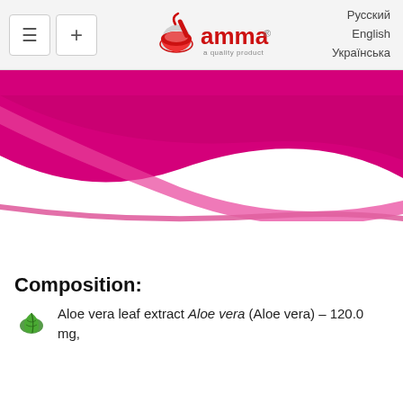amma — a quality product | Русский | English | Українська
[Figure (illustration): Pink and magenta decorative wave banner with white background, brand banner for amma pharmaceutical product]
Composition:
Aloe vera leaf extract Aloe vera (Aloe vera) – 120.0 mg,